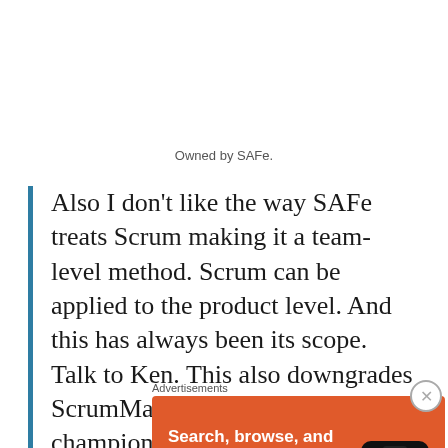Owned by SAFe.
Also I don't like the way SAFe treats Scrum making it a team-level method. Scrum can be applied to the product level. And this has always been its scope. Talk to Ken. This also downgrades ScrumMasters from change champions
Advertisements
[Figure (other): DuckDuckGo advertisement banner: orange background with text 'Search, browse, and email with more privacy.' and a white button 'All in One Free App', alongside an image of a phone with DuckDuckGo logo.]